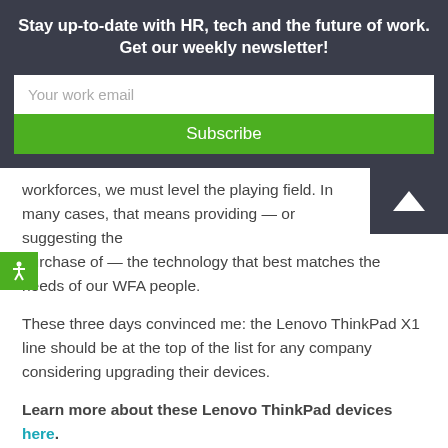Stay up-to-date with HR, tech and the future of work. Get our weekly newsletter!
Your work email
Subscribe
workforces, we must level the playing field. In many cases, that means providing — or suggesting the purchase of — the technology that best matches the needs of our WFA people.
These three days convinced me: the Lenovo ThinkPad X1 line should be at the top of the list for any company considering upgrading their devices.
Learn more about these Lenovo ThinkPad devices here.